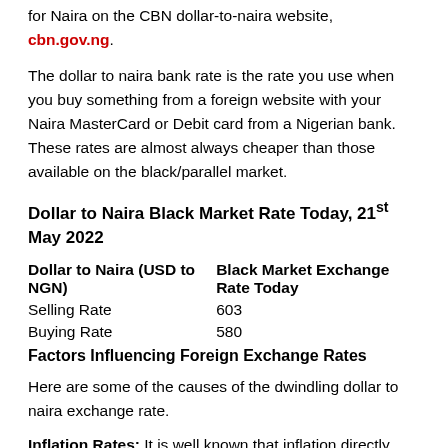for Naira on the CBN dollar-to-naira website, cbn.gov.ng.
The dollar to naira bank rate is the rate you use when you buy something from a foreign website with your Naira MasterCard or Debit card from a Nigerian bank. These rates are almost always cheaper than those available on the black/parallel market.
Dollar to Naira Black Market Rate Today, 21st May 2022
| Dollar to Naira (USD to NGN) | Black Market Exchange Rate Today |
| --- | --- |
| Selling Rate | 603 |
| Buying Rate | 580 |
Factors Influencing Foreign Exchange Rates
Here are some of the causes of the dwindling dollar to naira exchange rate.
Inflation Rates: It is well known that inflation directly